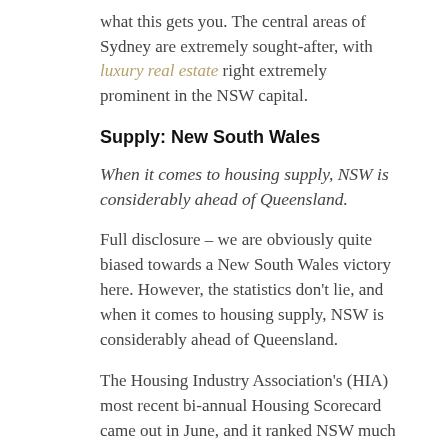what this gets you. The central areas of Sydney are extremely sought-after, with luxury real estate right extremely prominent in the NSW capital.
Supply: New South Wales
When it comes to housing supply, NSW is considerably ahead of Queensland.
Full disclosure – we are obviously quite biased towards a New South Wales victory here. However, the statistics don't lie, and when it comes to housing supply, NSW is considerably ahead of Queensland.
The Housing Industry Association's (HIA) most recent bi-annual Housing Scorecard came out in June, and it ranked NSW much higher than Queensland. Geordan Murray, economist at the HIA said that a lot of Qld's northern markets were being restricted by the mining